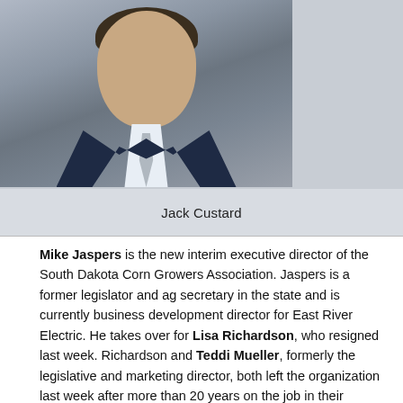[Figure (photo): Headshot of a man in a dark navy suit and white shirt with a grey tie, light blue/grey background]
Jack Custard
Mike Jaspers is the new interim executive director of the South Dakota Corn Growers Association. Jaspers is a former legislator and ag secretary in the state and is currently business development director for East River Electric. He takes over for Lisa Richardson, who resigned last week. Richardson and Teddi Mueller, formerly the legislative and marketing director, both left the organization last week after more than 20 years on the job in their respective roles.
North Dakota Gov. Doug Burgum, a Republican, has appointed Andrea Travnicek, director of North